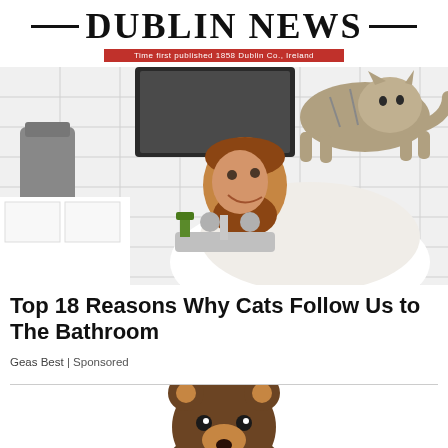DUBLIN NEWS — Time first published 1858 Dublin Co., Ireland
[Figure (photo): Man smiling at camera while cat walks on bathroom sink. White subway tile background, dark framed mirror visible.]
Top 18 Reasons Why Cats Follow Us to The Bathroom
Geas Best | Sponsored
[Figure (illustration): Cartoon illustration of a bear or animal character, partially visible at bottom of page.]